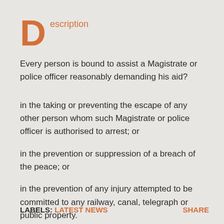Description
Every person is bound to assist a Magistrate or police officer reasonably demanding his aid?
in the taking or preventing the escape of any other person whom such Magistrate or police officer is authorised to arrest; or
in the prevention or suppression of a breach of the peace; or
in the prevention of any injury attempted to be committed to any railway, canal, telegraph or public property.
LABELS: LATEST NEWS    SHARE